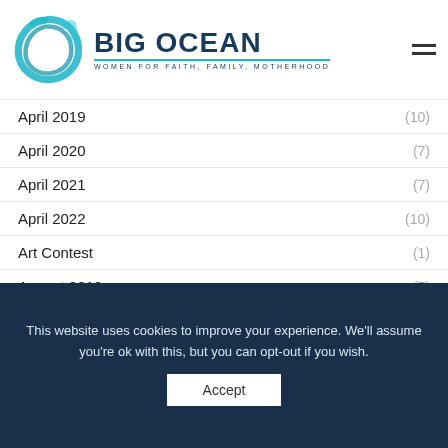[Figure (logo): Big Ocean Women logo with teal circular brushstroke and text 'BIG OCEAN' with tagline 'WOMEN FOR FAITH, FAMILY, MOTHERHOOD']
April 2019 (10)
April 2020 (7)
April 2021 (7)
April 2022 (10)
Art Contest (1)
August 2019 (7)
August 2020 (8)
August 2021 (7)
This website uses cookies to improve your experience. We'll assume you're ok with this, but you can opt-out if you wish.
Accept